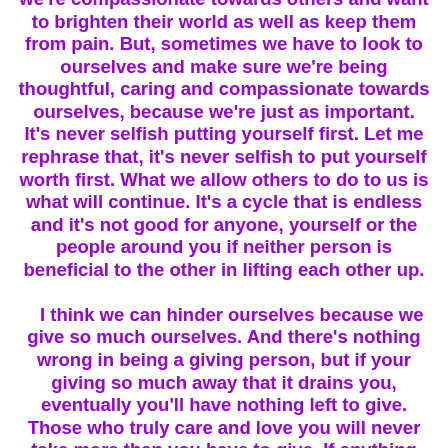we're compassionate towards others and want to brighten their world as well as keep them from pain. But, sometimes we have to look to ourselves and make sure we're being thoughtful, caring and compassionate towards ourselves, because we're just as important. It's never selfish putting yourself first. Let me rephrase that, it's never selfish to put yourself worth first. What we allow others to do to us is what will continue. It's a cycle that is endless and it's not good for anyone, yourself or the people around you if neither person is beneficial to the other in lifting each other up. I think we can hinder ourselves because we give so much ourselves. And there's nothing wrong in being a giving person, but if your giving so much away that it drains you, eventually you'll have nothing left to give. Those who truly care and love you will never take more than you have to give. If anything they will evenly give back or more without thought, without strings. Those who love and care for you will do anything to see you smile, hold you up when your down, empower you, encourage you and want your happiness above all else. Never sacrifice yourself or your self worth for anyone,